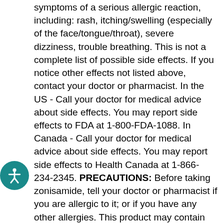symptoms of a serious allergic reaction, including: rash, itching/swelling (especially of the face/tongue/throat), severe dizziness, trouble breathing. This is not a complete list of possible side effects. If you notice other effects not listed above, contact your doctor or pharmacist. In the US - Call your doctor for medical advice about side effects. You may report side effects to FDA at 1-800-FDA-1088. In Canada - Call your doctor for medical advice about side effects. You may report side effects to Health Canada at 1-866-234-2345. PRECAUTIONS: Before taking zonisamide, tell your doctor or pharmacist if you are allergic to it; or if you have any other allergies. This product may contain inactive ingredients, which can cause allergic reactions or other problems. Talk to your pharmacist for more details. Before using this medication, tell your doctor or pharmacist your medical history, especially of: liver disease, kidney disease (such as kidney stones), lung/breathing problems, long-term diarrhea, metabolic imbalance (metabolic acidosis), a special diet (ketogenic diet), mental/mood problems (such as depression, psychosis). This drug may make you dizzy or drowsy.